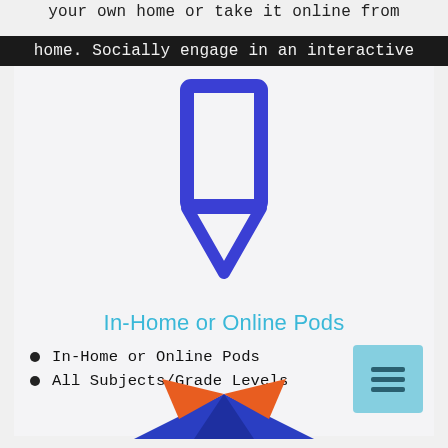your own home or take it online from
home. Socially engage in an interactive
[Figure (illustration): Blue outlined pencil icon on light grey background]
In-Home or Online Pods
In-Home or Online Pods
All Subjects/Grade Levels
[Figure (illustration): Menu/hamburger icon on light blue square background]
[Figure (illustration): Open book icon with orange and blue pages, partially visible at bottom]